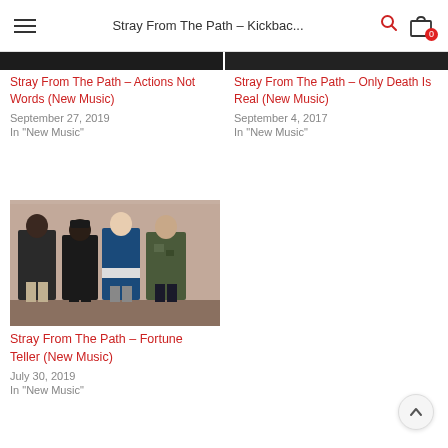Stray From The Path – Kickbac...
[Figure (photo): Partially visible photo strip at top, dark background — two music article thumbnails]
Stray From The Path – Actions Not Words (New Music)
September 27, 2019
In "New Music"
Stray From The Path – Only Death Is Real (New Music)
September 4, 2017
In "New Music"
[Figure (photo): Four members of Stray From The Path band standing against a pink/beige wall, wearing dark jackets and hoodies]
Stray From The Path – Fortune Teller (New Music)
July 30, 2019
In "New Music"